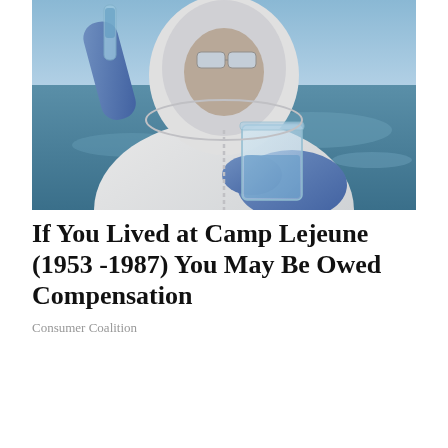[Figure (photo): A person in a white hazmat suit and blue gloves holding a glass beaker of water up to inspect it. A body of water and blue sky is visible in the background.]
If You Lived at Camp Lejeune (1953 -1987) You May Be Owed Compensation
Consumer Coalition